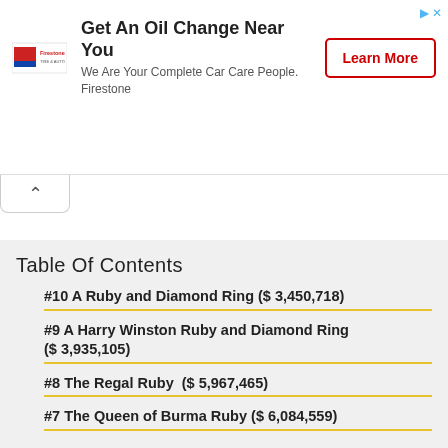[Figure (other): Firestone advertisement banner with logo, headline 'Get An Oil Change Near You', subtext 'We Are Your Complete Car Care People. Firestone', and a 'Learn More' button]
Table Of Contents
#10 A Ruby and Diamond Ring ($ 3,450,718)
#9 A Harry Winston Ruby and Diamond Ring ($ 3,935,105)
#8 The Regal Ruby  ($ 5,967,465)
#7 The Queen of Burma Ruby ($ 6,084,559)